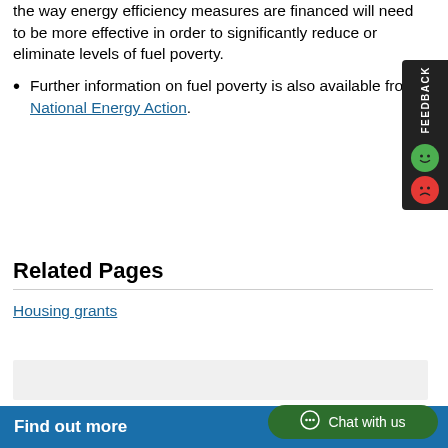the way energy efficiency measures are financed will need to be more effective in order to significantly reduce or eliminate levels of fuel poverty.
Further information on fuel poverty is also available from National Energy Action.
Related Pages
Housing grants
[Figure (other): Gray shaded box region below housing grants link]
Find out more